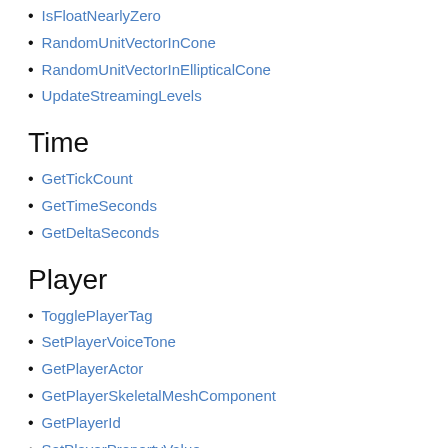IsFloatNearlyZero
RandomUnitVectorInCone
RandomUnitVectorInEllipticalCone
UpdateStreamingLevels
Time
GetTickCount
GetTimeSeconds
GetDeltaSeconds
Player
TogglePlayerTag
SetPlayerVoiceTone
GetPlayerActor
GetPlayerSkeletalMeshComponent
GetPlayerId
SetPlayerPropertyValue